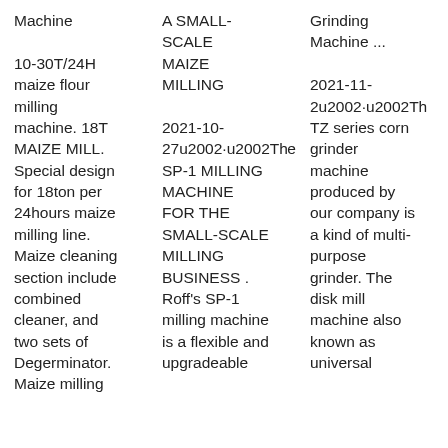Machine 10-30T/24H maize flour milling machine. 18T MAIZE MILL. Special design for 18ton per 24hours maize milling line. Maize cleaning section include combined cleaner, and two sets of Degerminator. Maize milling
A SMALL-SCALE MAIZE MILLING 2021-10-27u2002·u2002The SP-1 MILLING MACHINE FOR THE SMALL-SCALE MILLING BUSINESS . Roff's SP-1 milling machine is a flexible and upgradeable milling system.
Grinding Machine ... 2021-11-2u2002·u2002The TZ series corn grinder machine produced by our company is a kind of multi-purpose grinder. The disk mill machine also known as universal grinder. This